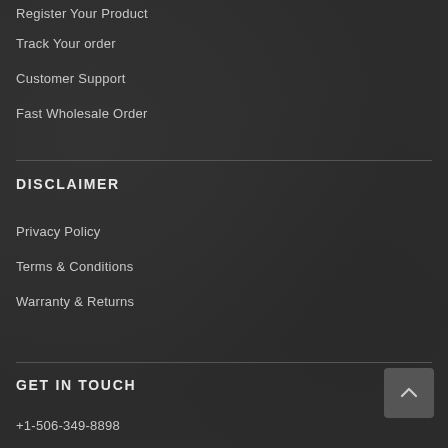Register Your Product
Track Your order
Customer Support
Fast Wholesale Order
DISCLAIMER
Privacy Policy
Terms & Conditions
Warranty & Returns
GET IN TOUCH
+1-506-349-8898